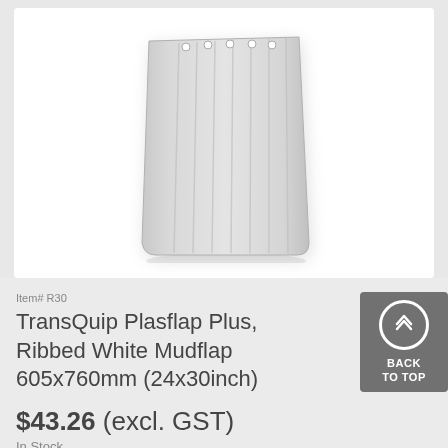[Figure (photo): A white ribbed rectangular mudflap with mounting holes along the top edge, shown on a white background with a slight shadow.]
Item# R30
TransQuip Plasflap Plus, Ribbed White Mudflap 605x760mm (24x30inch)
$43.26 (excl. GST)
In Stock
Add to Favourites